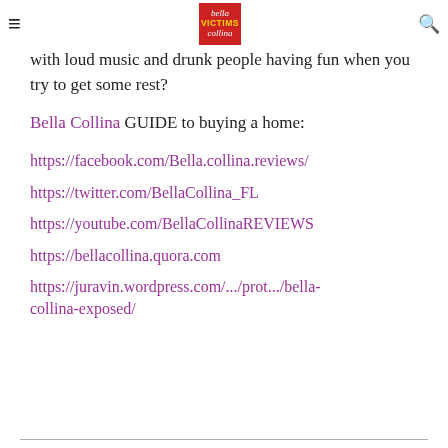bella VICTIMS collina [logo] [hamburger menu] [search icon]
with loud music and drunk people having fun when you try to get some rest?
Bella Collina GUIDE to buying a home:
https://facebook.com/Bella.collina.reviews/
https://twitter.com/BellaCollina_FL
https://youtube.com/BellaCollinaREVIEWS
https://bellacollina.quora.com
https://juravin.wordpress.com/.../prot.../bella-collina-exposed/